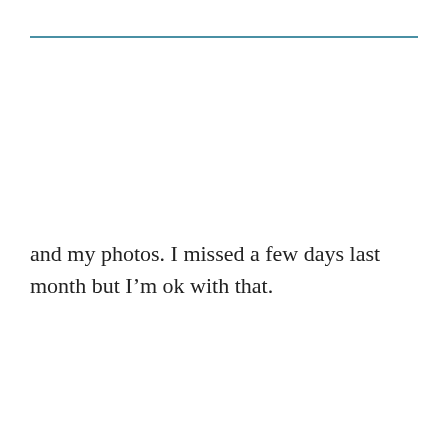and my photos. I missed a few days last month but I'm ok with that.